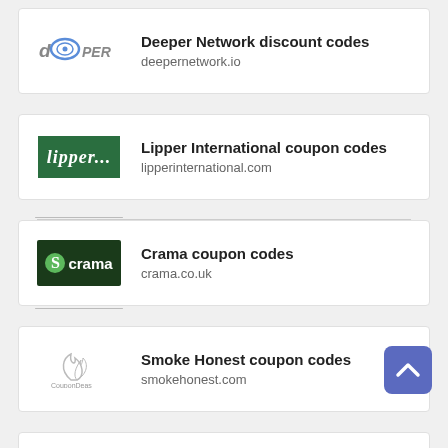Deeper Network discount codes
deepenetwork.io
Lipper International coupon codes
lipperinternational.com
Crama coupon codes
crama.co.uk
Smoke Honest coupon codes
smokehonest.com
Supreme Gift Shop promo codes